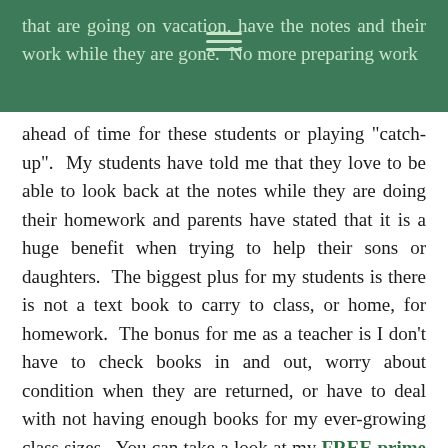that are going on vacation, have the notes and their work while they are gone.  No more preparing work
ahead of time for these students or playing "catch-up".  My students have told me that they love to be able to look back at the notes while they are doing their homework and parents have stated that it is a huge benefit when trying to help their sons or daughters.  The biggest plus for my students is there is not a text book to carry to class, or home, for homework.  The bonus for me as a teacher is I don't have to check books in and out, worry about condition when they are returned, or have to deal with not having enough books for my ever-growing class sizes.  You can take a look at my FREE prime factorization lesson to get a better understanding of what my students can